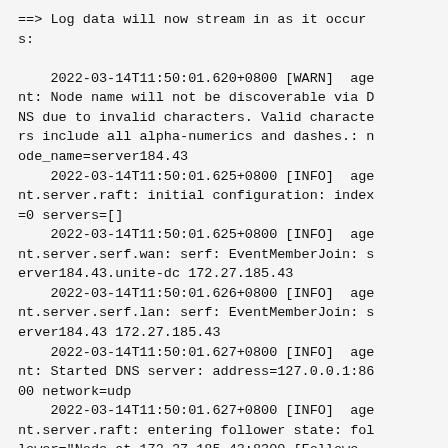==> Log data will now stream in as it occurs:

    2022-03-14T11:50:01.620+0800 [WARN]  agent: Node name will not be discoverable via DNS due to invalid characters. Valid characters include all alpha-numerics and dashes.: node_name=server184.43
    2022-03-14T11:50:01.625+0800 [INFO]  agent.server.raft: initial configuration: index=0 servers=[]
    2022-03-14T11:50:01.625+0800 [INFO]  agent.server.serf.wan: serf: EventMemberJoin: server184.43.unite-dc 172.27.185.43
    2022-03-14T11:50:01.626+0800 [INFO]  agent.server.serf.lan: serf: EventMemberJoin: server184.43 172.27.185.43
    2022-03-14T11:50:01.627+0800 [INFO]  agent: Started DNS server: address=127.0.0.1:8600 network=udp
    2022-03-14T11:50:01.627+0800 [INFO]  agent.server.raft: entering follower state: follower="Node at 172.27.185.43:8300 [Follower]" leader=